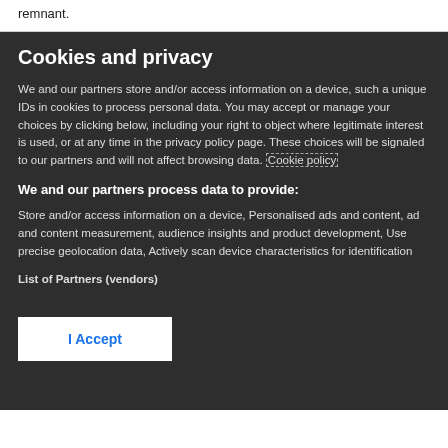remnant.
Cookies and privacy
We and our partners store and/or access information on a device, such a unique IDs in cookies to process personal data. You may accept or manage your choices by clicking below, including your right to object where legitimate interest is used, or at any time in the privacy policy page. These choices will be signaled to our partners and will not affect browsing data. Cookie policy
We and our partners process data to provide:
Store and/or access information on a device, Personalised ads and content, ad and content measurement, audience insights and product development, Use precise geolocation data, Actively scan device characteristics for identification
List of Partners (vendors)
I Accept